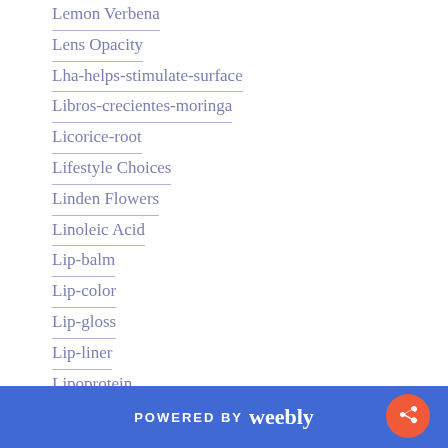Lemon Verbena
Lens Opacity
Lha-helps-stimulate-surface
Libros-crecientes-moringa
Licorice-root
Lifestyle Choices
Linden Flowers
Linoleic Acid
Lip-balm
Lip-color
Lip-gloss
Lip-liner
Lipoprotein
Lips
Liquid-energy-booster
Live Organisms
Liver-cirrhosis
POWERED BY weebly